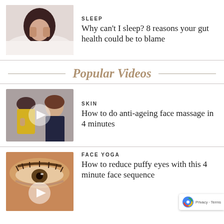[Figure (photo): Woman covering face with hands lying in bed - sleep article thumbnail]
SLEEP
Why can't I sleep? 8 reasons your gut health could be to blame
Popular Videos
[Figure (photo): Two women in video thumbnail for skin/face massage video with play button overlay]
SKIN
How to do anti-ageing face massage in 4 minutes
[Figure (photo): Close-up of eye for face yoga video thumbnail with play button overlay]
FACE YOGA
How to reduce puffy eyes with this 4 minute face sequence